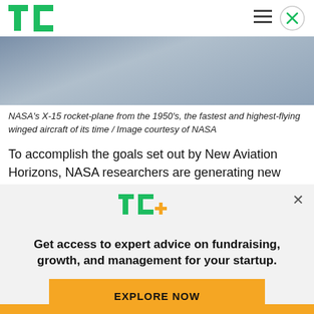TechCrunch header with logo and navigation
[Figure (photo): NASA X-15 rocket-plane image, grayish-blue sky background]
NASA's X-15 rocket-plane from the 1950's, the fastest and highest-flying winged aircraft of its time / Image courtesy of NASA
To accomplish the goals set out by New Aviation Horizons, NASA researchers are generating new
[Figure (infographic): TechCrunch+ promotional overlay with TC+ logo, text 'Get access to expert advice on fundraising, growth, and management for your startup.' and an EXPLORE NOW button]